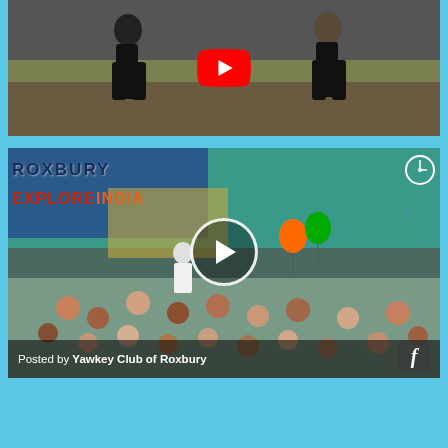[Figure (screenshot): YouTube video thumbnail showing two people in black dance/athletic wear performing on a stage, with a large red YouTube play button overlay in the center.]
[Figure (screenshot): Facebook video thumbnail showing a crowd of children and adults in a school gymnasium/hallway with 'ROXBURY EXPLORE INDIA' signage visible, trophies, balloons in orange, green and white colors, with a circular white play button overlay. A Facebook icon and text 'Posted by Yawkey Club of Roxbury' appear at the bottom.]